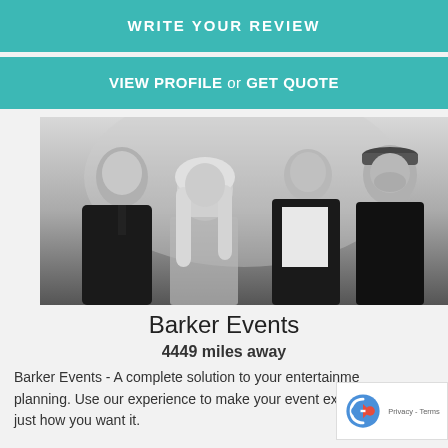WRITE YOUR REVIEW
VIEW PROFILE or GET QUOTE
[Figure (photo): Black and white photo of four band members: bald man on left, blonde woman, young man in white shirt, man with cap on right]
Barker Events
4449 miles away
Barker Events - A complete solution to your entertainment planning. Use our experience to make your event experience just how you want it.